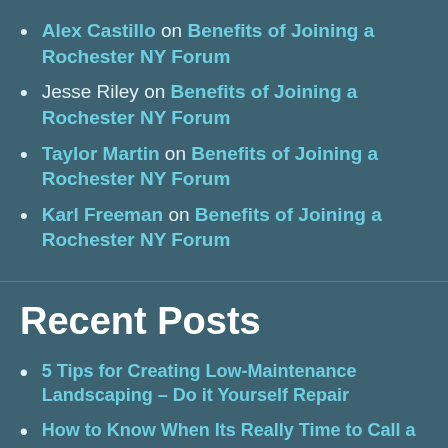Alex Castillo on Benefits of Joining a Rochester NY Forum
Jesse Riley on Benefits of Joining a Rochester NY Forum
Taylor Martin on Benefits of Joining a Rochester NY Forum
Karl Freeman on Benefits of Joining a Rochester NY Forum
Recent Posts
5 Tips for Creating Low-Maintenance Landscaping – Do it Yourself Repair
How to Know When Its Really Time to Call a